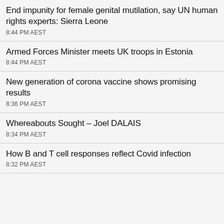End impunity for female genital mutilation, say UN human rights experts: Sierra Leone
8:44 PM AEST
Armed Forces Minister meets UK troops in Estonia
8:44 PM AEST
New generation of corona vaccine shows promising results
8:36 PM AEST
Whereabouts Sought – Joel DALAIS
8:34 PM AEST
How B and T cell responses reflect Covid infection
8:32 PM AEST